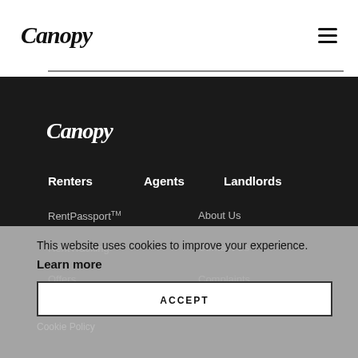Canopy
[Figure (logo): Canopy logo in white on dark background]
Renters
Agents
Landlords
RentPassport™
About Us
RentTracking™
Contact Us
Offers
Complaints
This website uses cookies to improve your experience. Learn more
ACCEPT
Cookie Policy